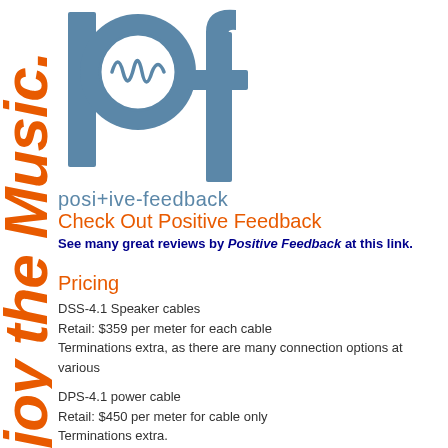[Figure (logo): Positive Feedback logo: stylized 'pf' letters in steel blue with a circle and waveform inside the 'p']
posi+ive-feedback
Check Out Positive Feedback
See many great reviews by Positive Feedback at this link.
Pricing
DSS-4.1 Speaker cables
Retail: $359 per meter for each cable
Terminations extra, as there are many connection options at various
DPS-4.1 power cable
Retail: $450 per meter for cable only
Terminations extra.
joy the Music.